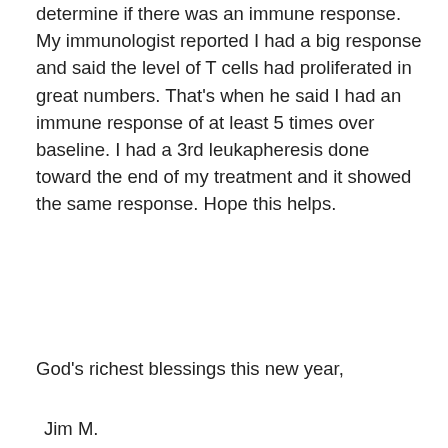determine if there was an immune response. My immunologist reported I had a big response and said the level of T cells had proliferated in great numbers. That's when he said I had an immune response of at least 5 times over baseline. I had a 3rd leukapheresis done toward the end of my treatment and it showed the same response. Hope this helps.
God's richest blessings this new year,
Jim M.
Viewing 2 reply threads
REPLIES